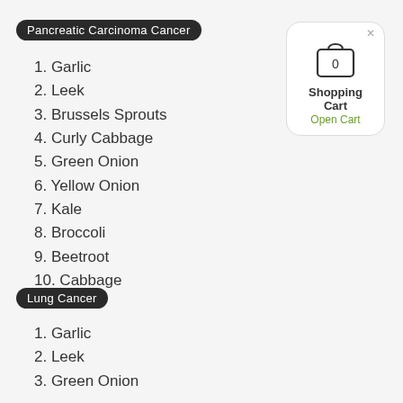Pancreatic Carcinoma Cancer
1. Garlic
2. Leek
3. Brussels Sprouts
4. Curly Cabbage
5. Green Onion
6. Yellow Onion
7. Kale
8. Broccoli
9. Beetroot
10. Cabbage
[Figure (illustration): Shopping cart icon showing a bag with '0' inside, labeled 'Shopping Cart' with 'Open Cart' in green below, inside a rounded rectangle card with a close X button]
Lung Cancer
1. Garlic
2. Leek
3. Green Onion